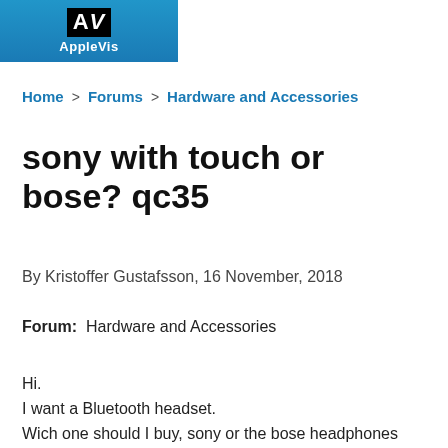AV AppleVis
Home > Forums > Hardware and Accessories
sony with touch or bose? qc35
By Kristoffer Gustafsson, 16 November, 2018
Forum: Hardware and Accessories
Hi.
I want a Bluetooth headset.
Wich one should I buy, sony or the bose headphones